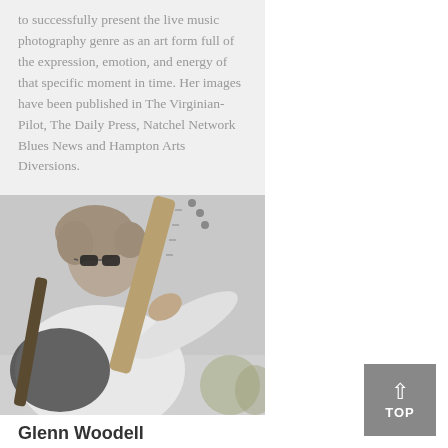to successfully present the live music photography genre as an art form full of the expression, emotion, and energy of that specific moment in time. Her images have been published in The Virginian-Pilot, The Daily Press, Natchel Network Blues News and Hampton Arts Diversions.
[Figure (photo): Black and white photograph of a man with curly hair and sunglasses playing an electric guitar, wearing a white shirt]
Glenn Woodell
Glenn Woodell spends his musical time